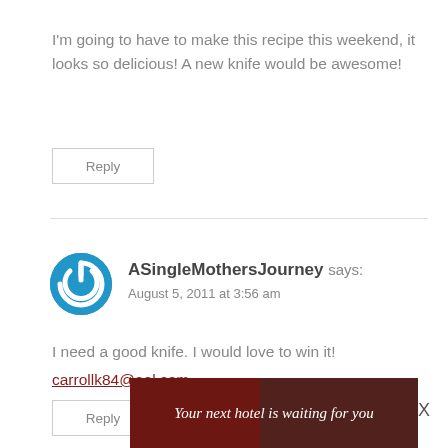I'm going to have to make this recipe this weekend, it looks so delicious! A new knife would be awesome!
Reply
[Figure (illustration): Blue circular power button icon avatar for user ASingleMothersJourney]
ASingleMothersJourney says: August 5, 2011 at 3:56 am
I need a good knife. I would love to win it! carrollk84@aol.com
Reply
[Figure (infographic): Advertisement banner: 'Your next hotel is waiting for you' with a dark scenic hotel image on red/dark background]